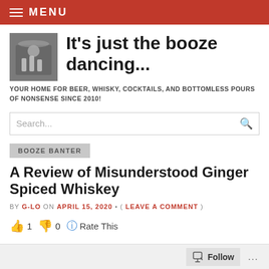MENU
It's just the booze dancing...
YOUR HOME FOR BEER, WHISKY, COCKTAILS, AND BOTTOMLESS POURS OF NONSENSE SINCE 2010!
BOOZE BANTER
A Review of Misunderstood Ginger Spiced Whiskey
BY G-LO ON APRIL 15, 2020 • ( LEAVE A COMMENT )
👍 1 👎 0 ℹ Rate This